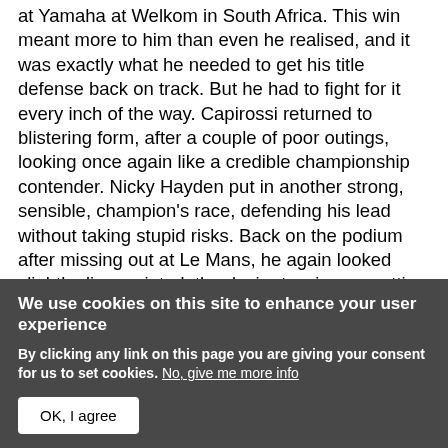at Yamaha at Welkom in South Africa. This win meant more to him than even he realised, and it was exactly what he needed to get his title defense back on track. But he had to fight for it every inch of the way. Capirossi returned to blistering form, after a couple of poor outings, looking once again like a credible championship contender. Nicky Hayden put in another strong, sensible, champion's race, defending his lead without taking stupid risks. Back on the podium after missing out at Le Mans, he again looked slightly disappointed, the desire to win one getting stronger every race, and especially after races like Mugello, where he ran at the front and threatened all race long.
We use cookies on this site to enhance your user experience
By clicking any link on this page you are giving your consent for us to set cookies. No, give me more info
OK, I agree